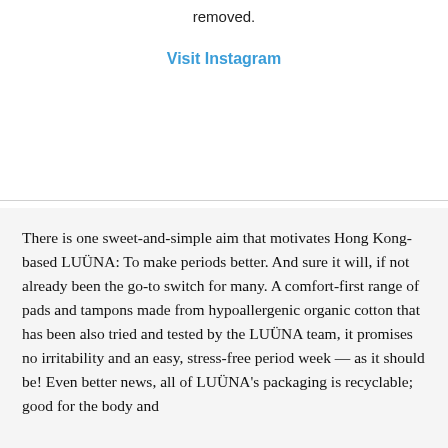removed.
Visit Instagram
There is one sweet-and-simple aim that motivates Hong Kong-based LUÜNA: To make periods better. And sure it will, if not already been the go-to switch for many. A comfort-first range of pads and tampons made from hypoallergenic organic cotton that has been also tried and tested by the LUÜNA team, it promises no irritability and an easy, stress-free period week — as it should be! Even better news, all of LUÜNA's packaging is recyclable; good for the body and...